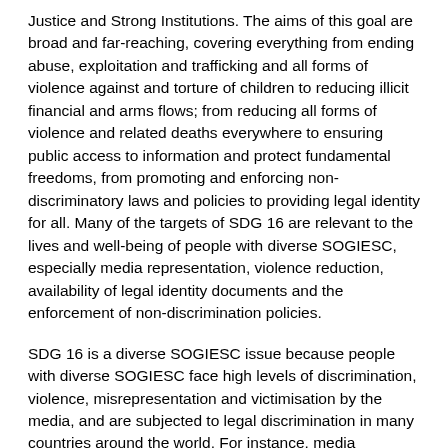Justice and Strong Institutions. The aims of this goal are broad and far-reaching, covering everything from ending abuse, exploitation and trafficking and all forms of violence against and torture of children to reducing illicit financial and arms flows; from reducing all forms of violence and related deaths everywhere to ensuring public access to information and protect fundamental freedoms, from promoting and enforcing non-discriminatory laws and policies to providing legal identity for all. Many of the targets of SDG 16 are relevant to the lives and well-being of people with diverse SOGIESC, especially media representation, violence reduction, availability of legal identity documents and the enforcement of non-discrimination policies.
SDG 16 is a diverse SOGIESC issue because people with diverse SOGIESC face high levels of discrimination, violence, misrepresentation and victimisation by the media, and are subjected to legal discrimination in many countries around the world. For instance, media representations of people with diverse SOGIESC often perpetuate negative stereotypes and biases against the diverse SOGIESC community; these representations fuel anti-diverse SOGIESC rhetoric and